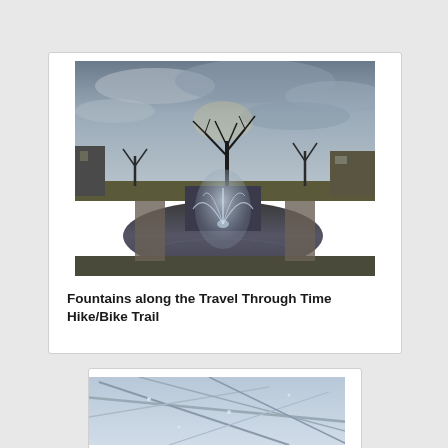[Figure (photo): Outdoor photo showing a fountain spraying water in a pond or water feature, with bare trees silhouetted against a cloudy sky, and buildings visible in the background. Taken along a hike/bike trail.]
Fountains along the Travel Through Time Hike/Bike Trail
[Figure (photo): Outdoor photo showing bare branches covered in ice or frost against a grey sky, with additional icy or snowy vegetation visible.]